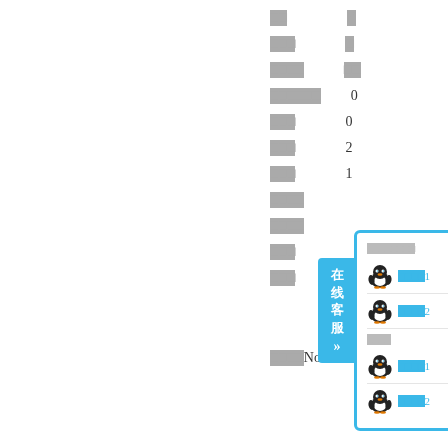□□  B
□□□  □
□□□□  □
□□□□□□  0
□□□  0
□□□  2
□□□  1
□□□□
□□□□
□□□
□□□
[Figure (screenshot): Online customer service popup with QQ penguin icons showing agent list in two sections, with blue border and blue tab labeled 在线客服]
□□□□No. 1